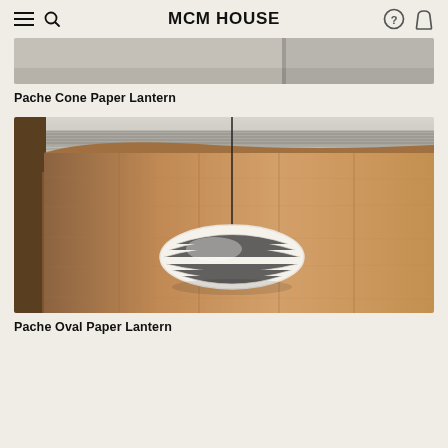MCM HOUSE
[Figure (photo): Partial top view of a cone paper lantern product photo with grey/beige tones]
Pache Cone Paper Lantern
[Figure (photo): An oval white paper lantern pendant light hanging from a thin black cord against a warm wood-paneled wall with a textured ceiling detail]
Pache Oval Paper Lantern